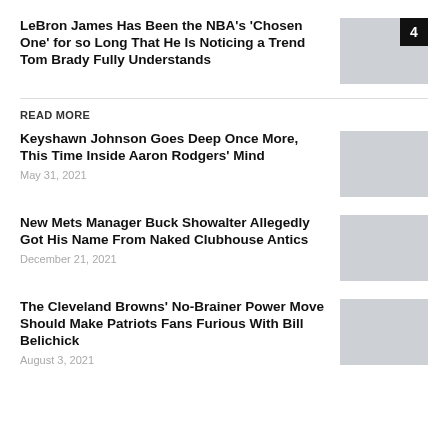LeBron James Has Been the NBA's 'Chosen One' for so Long That He Is Noticing a Trend Tom Brady Fully Understands
[Figure (photo): Thumbnail image placeholder with badge number 4]
READ MORE
Keyshawn Johnson Goes Deep Once More, This Time Inside Aaron Rodgers' Mind
May 31, 2021
[Figure (photo): Thumbnail image placeholder]
New Mets Manager Buck Showalter Allegedly Got His Name From Naked Clubhouse Antics
December 21, 2021
[Figure (photo): Thumbnail image placeholder]
The Cleveland Browns' No-Brainer Power Move Should Make Patriots Fans Furious With Bill Belichick
August 3, 2021
[Figure (photo): Thumbnail image placeholder]